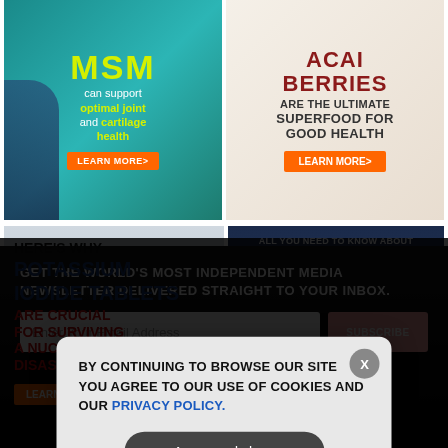[Figure (illustration): MSM supplement ad with teal background, yoga person silhouette, yellow MSM text, tagline about optimal joint and cartilage health, orange LEARN MORE button]
[Figure (illustration): Acai Berries superfood ad with light beige background, dark red bold text 'ACAI BERRIES ARE THE ULTIMATE SUPERFOOD FOR GOOD HEALTH', orange LEARN MORE button]
[Figure (illustration): Potassium Iodide Tablets ad with gray/blue cloudy nuclear explosion background, bold text 'HERE'S WHY POTASSIUM IODIDE TABLETS ARE CRUCIAL FOR SURVIVING A NUCLEAR DISASTER', orange LEARN MORE button]
[Figure (illustration): Turmeric/Curcumin ad with dark navy background, Health Ranger Store logo, text 'ALL YOU NEED TO KNOW ABOUT TURMERIC AND THE POWER OF CURCUMIN', product bottles and powder]
GET THE WORLD'S MOST INDEPENDENT MEDIA NEWSLETTER DELIVERED STRAIGHT TO YOUR INBOX.
Enter Your Email Address
SUBSCRIBE
BY CONTINUING TO BROWSE OUR SITE YOU AGREE TO OUR USE OF COOKIES AND OUR PRIVACY POLICY.
Agree and close